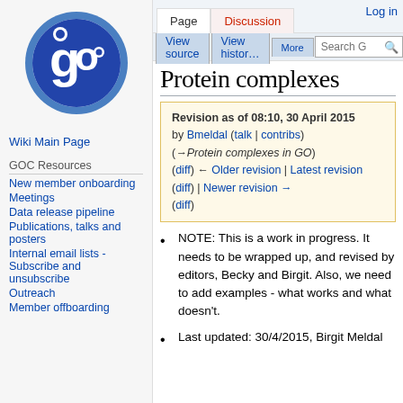[Figure (logo): GO (Gene Ontology) circular logo with blue 'go' letters on white background inside a blue ring]
Log in
Page | Discussion | View source | View history | More
Protein complexes
Revision as of 08:10, 30 April 2015 by Bmeldal (talk | contribs) (→Protein complexes in GO) (diff) ← Older revision | Latest revision (diff) | Newer revision → (diff)
Wiki Main Page
GOC Resources
New member onboarding
Meetings
Data release pipeline
Publications, talks and posters
Internal email lists - Subscribe and unsubscribe
Outreach
Member offboarding
NOTE: This is a work in progress. It needs to be wrapped up, and revised by editors, Becky and Birgit. Also, we need to add examples - what works and what doesn't.
Last updated: 30/4/2015, Birgit Meldal